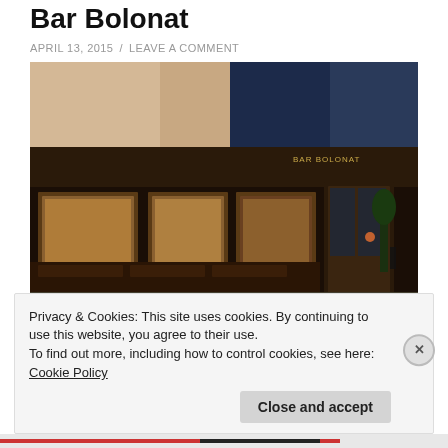Bar Bolonat
APRIL 13, 2015 / LEAVE A COMMENT
[Figure (photo): Night exterior photo of Bar Bolonat restaurant storefront, showing dark wood facade with large windows, illuminated interior, and city street at night.]
Privacy & Cookies: This site uses cookies. By continuing to use this website, you agree to their use.
To find out more, including how to control cookies, see here: Cookie Policy
Close and accept